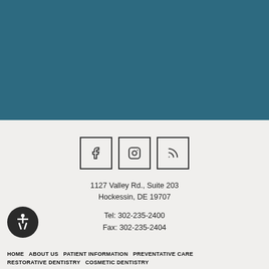[Figure (illustration): Teal/dark blue header background section]
[Figure (illustration): Three social media icon boxes: Facebook (f), Instagram, RSS feed]
1127 Valley Rd., Suite 203
Hockessin, DE 19707
Tel: 302-235-2400
Fax: 302-235-2404
[Figure (illustration): Accessibility icon button (wheelchair symbol) in dark circle, bottom left]
HOME  ABOUT US  PATIENT INFORMATION  PREVENTATIVE CARE
RESTORATIVE DENTISTRY  COSMETIC DENTISTRY